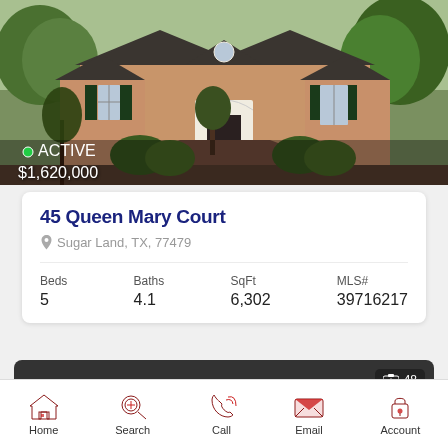[Figure (photo): Exterior photo of a large two-story brick house with green shutters, white trim, arched windows, and landscaped front yard]
ACTIVE
$1,620,000
45 Queen Mary Court
Sugar Land, TX, 77479
| Beds | Baths | SqFt | MLS# |
| --- | --- | --- | --- |
| 5 | 4.1 | 6,302 | 39716217 |
[Figure (screenshot): Dark grey strip with photo count badge showing 48 photos]
48
Home
Search
Call
Email
Account